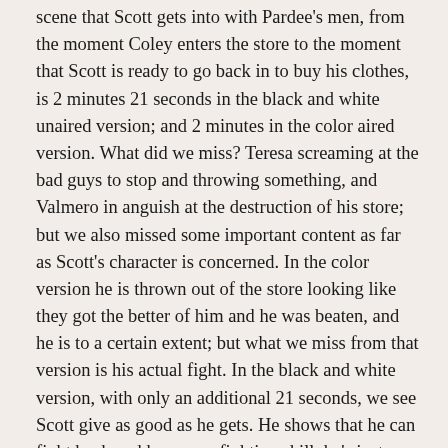scene that Scott gets into with Pardee's men, from the moment Coley enters the store to the moment that Scott is ready to go back in to buy his clothes, is 2 minutes 21 seconds in the black and white unaired version; and 2 minutes in the color aired version. What did we miss? Teresa screaming at the bad guys to stop and throwing something, and Valmero in anguish at the destruction of his store; but we also missed some important content as far as Scott's character is concerned. In the color version he is thrown out of the store looking like they got the better of him and he was beaten, and he is to a certain extent; but what we miss from that version is his actual fight. In the black and white version, with only an additional 21 seconds, we see Scott give as good as he gets. He shows that he can fight back and has some fighting skill, he's just outnumbered. It doesn't sound like a big deal losing 21 seconds, but in an action sequence 21 seconds is a long time. Losing that little bit of time does Scott a disservice.